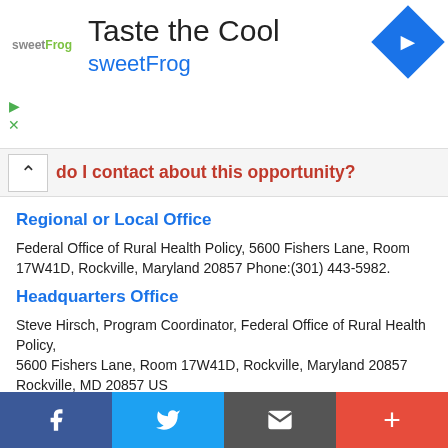[Figure (other): Advertisement banner for sweetFrog frozen yogurt with logo, 'Taste the Cool' headline, blue navigation arrow icon, and close/ad-choice icons]
do I contact about this opportunity?
Regional or Local Office
Federal Office of Rural Health Policy, 5600 Fishers Lane, Room 17W41D, Rockville, Maryland 20857 Phone:(301) 443-5982.
Headquarters Office
Steve Hirsch, Program Coordinator, Federal Office of Rural Health Policy,
5600 Fishers Lane, Room 17W41D, Rockville, Maryland 20857
Rockville, MD 20857 US
SHirsch@hrsa.gov
Phone: (301) 443-0835
Website Address
http://www.hrsa.gov/ruralhealth.